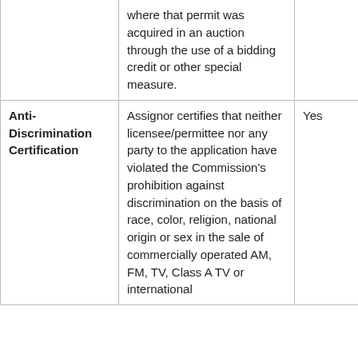|  | where that permit was acquired in an auction through the use of a bidding credit or other special measure. |  |
| Anti-Discrimination Certification | Assignor certifies that neither licensee/permittee nor any party to the application have violated the Commission's prohibition against discrimination on the basis of race, color, religion, national origin or sex in the sale of commercially operated AM, FM, TV, Class A TV or international | Yes |